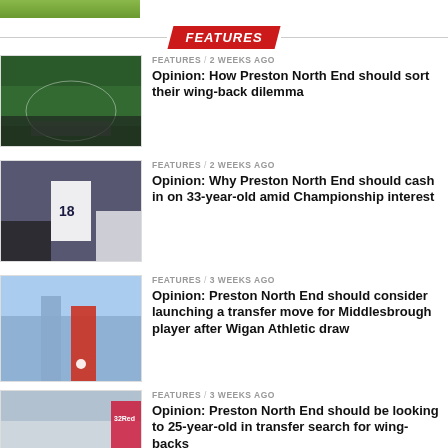[Figure (photo): Green grass/turf strip at top of page]
FEATURES
FEATURES / 2 weeks ago
Opinion: How Preston North End should sort their wing-back dilemma
[Figure (photo): Football stadium aerial view]
FEATURES / 2 weeks ago
Opinion: Why Preston North End should cash in on 33-year-old amid Championship interest
[Figure (photo): Football players, white jersey with number 18]
FEATURES / 3 weeks ago
Opinion: Preston North End should consider launching a transfer move for Middlesbrough player after Wigan Athletic draw
[Figure (photo): Football players running on pitch]
FEATURES / 3 weeks ago
Opinion: Preston North End should be looking to 25-year-old in transfer search for wing-backs
[Figure (photo): Stadium exterior building with 32Red signage]